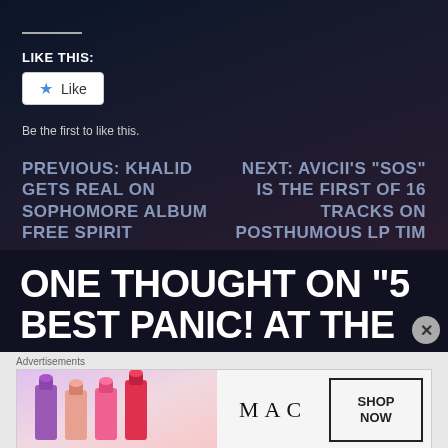LIKE THIS:
Like
Be the first to like this.
PREVIOUS: KHALID GETS REAL ON SOPHOMORE ALBUM FREE SPIRIT
NEXT: AVICII'S “SOS” IS THE FIRST OF 16 TRACKS ON POSTHUMOUS LP TIM
ONE THOUGHT ON “5 BEST PANIC! AT THE DISCO MUSIC VIDEOS TO EVER HAVE
Advertisements
[Figure (photo): MAC cosmetics advertisement showing colorful lipsticks and SHOP NOW button]